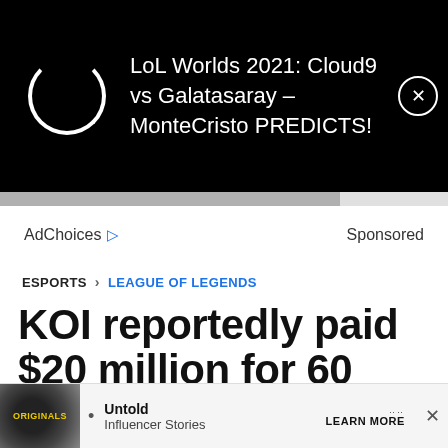[Figure (screenshot): Video thumbnail overlay with loading spinner circle on black background and text 'LoL Worlds 2021: Cloud9 vs Galatasaray - MonteCristo PREDICTS!' with a close (X) button]
AdChoices ▷   Sponsored
ESPORTS > LEAGUE OF LEGENDS
KOI reportedly paid $20 million for 60 percent share in Rogue's LEC spot
Meg Kay
[Figure (screenshot): Bottom advertisement banner: Originals thumbnail, bullet point, 'Untold Influencer Stories', LEARN MORE button, and X close button]